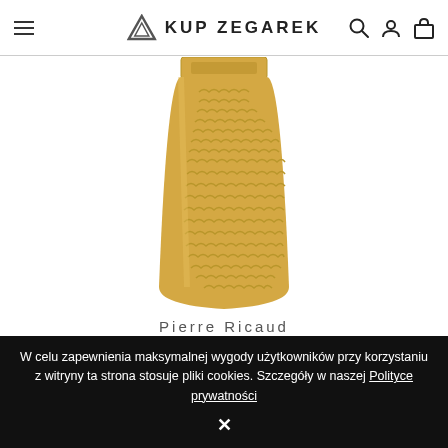KUP ZEGAREK
[Figure (photo): Gold woven mesh watch bracelet/strap shown from above, metallic gold color with herringbone weave pattern]
Pierre Ricaud
P37039.1117Q
zł370.00
1
W celu zapewnienia maksymalnej wygody użytkowników przy korzystaniu z witryny ta strona stosuje pliki cookies. Szczegóły w naszej Polityce prywatności